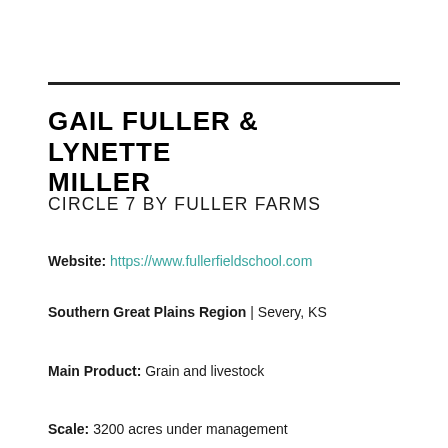GAIL FULLER & LYNETTE MILLER
CIRCLE 7 BY FULLER FARMS
Website: https://www.fullerfieldschool.com
Southern Great Plains Region | Severy, KS
Main Product: Grain and livestock
Scale: 3200 acres under management